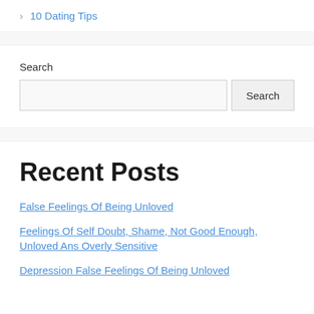> 10 Dating Tips
Search
Search button
Recent Posts
False Feelings Of Being Unloved
Feelings Of Self Doubt, Shame, Not Good Enough, Unloved Ans Overly Sensitive
Depression False Feelings Of Being Unloved